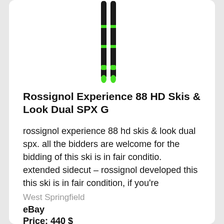[Figure (photo): Product photo of Rossignol Experience 88 HD Skis — two black skis with green detailing, shown vertically from above]
Rossignol Experience 88 HD Skis & Look Dual SPX G
rossignol experience 88 hd skis & look dual spx. all the bidders are welcome for the bidding of this ski is in fair conditio. extended sidecut – rossignol developed this this ski is in fair condition, if you're
West Springfield
eBay
Price: 440 $
Product condition: Used